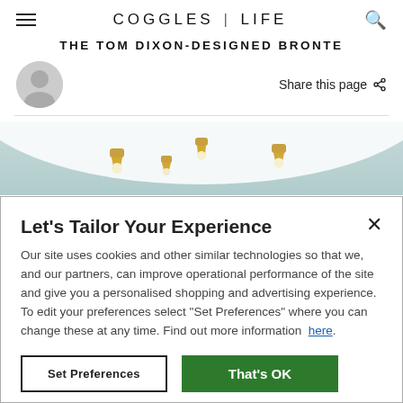COGGLES | LIFE
THE TOM DIXON-DESIGNED BRONTE
Share this page
[Figure (photo): Ceiling lights with gold/brass fixtures on a curved white ceiling, viewed from below]
Let's Tailor Your Experience
Our site uses cookies and other similar technologies so that we, and our partners, can improve operational performance of the site and give you a personalised shopping and advertising experience. To edit your preferences select "Set Preferences" where you can change these at any time. Find out more information here.
Set Preferences
That's OK